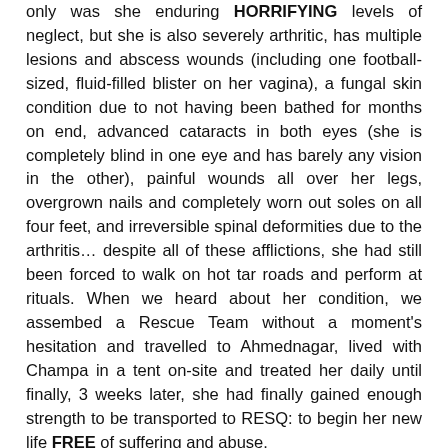only was she enduring HORRIFYING levels of neglect, but she is also severely arthritic, has multiple lesions and abscess wounds (including one football-sized, fluid-filled blister on her vagina), a fungal skin condition due to not having been bathed for months on end, advanced cataracts in both eyes (she is completely blind in one eye and has barely any vision in the other), painful wounds all over her legs, overgrown nails and completely worn out soles on all four feet, and irreversible spinal deformities due to the arthritis... despite all of these afflictions, she had still been forced to walk on hot tar roads and perform at rituals. When we heard about her condition, we assembed a Rescue Team without a moment's hesitation and travelled to Ahmednagar, lived with Champa in a tent on-site and treated her daily until finally, 3 weeks later, she had finally gained enough strength to be transported to RESQ: to begin her new life FREE of suffering and abuse.
We have named her Liliana (Lilly for short), and her journey ahead is extremely critical... but with YOUR SUPPORT, we